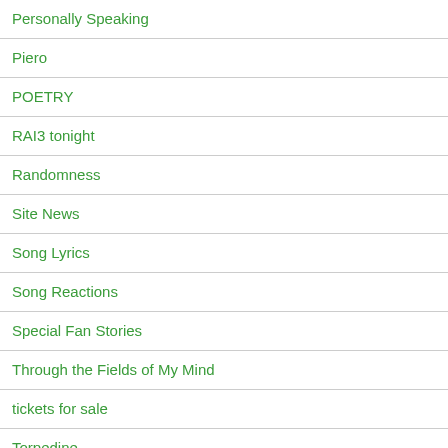Personally Speaking
Piero
POETRY
RAI3 tonight
Randomness
Site News
Song Lyrics
Song Reactions
Special Fan Stories
Through the Fields of My Mind
tickets for sale
Torpedine
Tour News